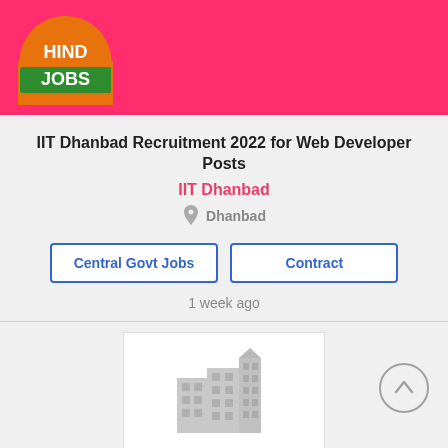[Figure (logo): Hind Jobs logo - orange semicircle with white text HIND JOBS on green banner]
IIT Dhanbad Recruitment 2022 for Web Developer Posts
IIT Dhanbad
Dhanbad
Central Govt Jobs
Contract
1 week ago
[Figure (illustration): Placeholder building/office illustration in gray]